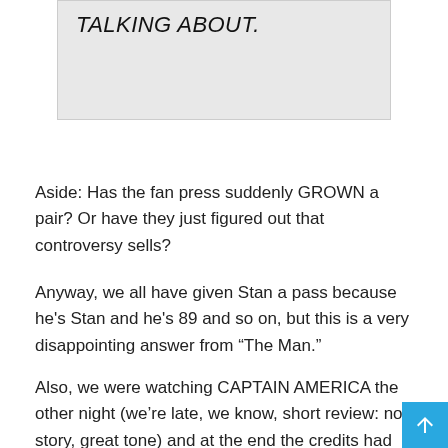[Figure (other): Gray box with italic text reading 'TALKING ABOUT.']
Aside: Has the fan press suddenly GROWN a pair? Or have they just figured out that controversy sells?
Anyway, we all have given Stan a pass because he's Stan and he's 89 and so on, but this is a very disappointing answer from “The Man.”
Also, we were watching CAPTAIN AMERICA the other night (we’re late, we know, short review: no story, great tone) and at the end the credits had special thanks to Lee and Kirby and